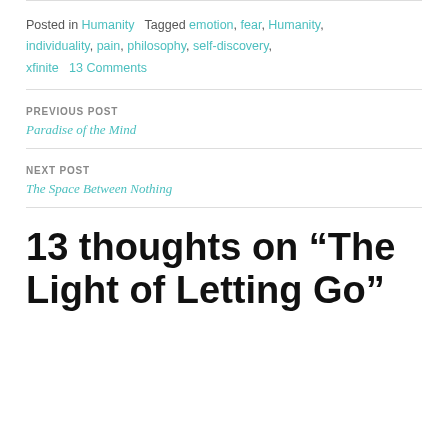Posted in Humanity   Tagged emotion, fear, Humanity, individuality, pain, philosophy, self-discovery, xfinite   13 Comments
PREVIOUS POST
Paradise of the Mind
NEXT POST
The Space Between Nothing
13 thoughts on “The Light of Letting Go”